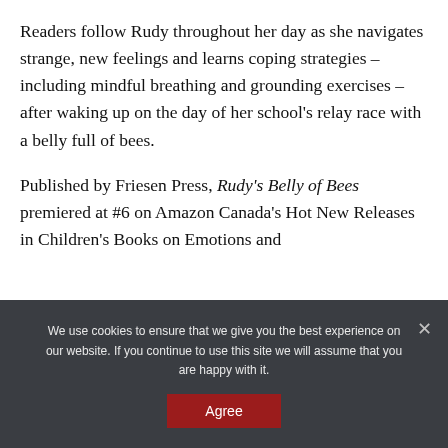Readers follow Rudy throughout her day as she navigates strange, new feelings and learns coping strategies – including mindful breathing and grounding exercises – after waking up on the day of her school's relay race with a belly full of bees.
Published by Friesen Press, Rudy's Belly of Bees premiered at #6 on Amazon Canada's Hot New Releases in Children's Books on Emotions and
We use cookies to ensure that we give you the best experience on our website. If you continue to use this site we will assume that you are happy with it.
Agree